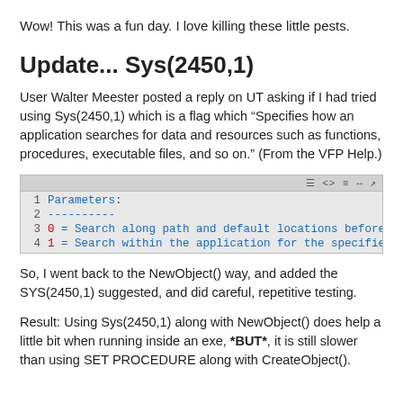Wow! This was a fun day. I love killing these little pests.
Update... Sys(2450,1)
User Walter Meester posted a reply on UT asking if I had tried using Sys(2450,1) which is a flag which “Specifies how an application searches for data and resources such as functions, procedures, executable files, and so on.” (From the VFP Help.)
[Figure (screenshot): Code block showing parameters for Sys(2450,1): line 1 'Parameters:', line 2 '----------', line 3 '0 = Search along path and default locations before searchi...', line 4 '1 = Search within the application for the specified proce...']
So, I went back to the NewObject() way, and added the SYS(2450,1) suggested, and did careful, repetitive testing.
Result: Using Sys(2450,1) along with NewObject() does help a little bit when running inside an exe, *BUT*, it is still slower than using SET PROCEDURE along with CreateObject().